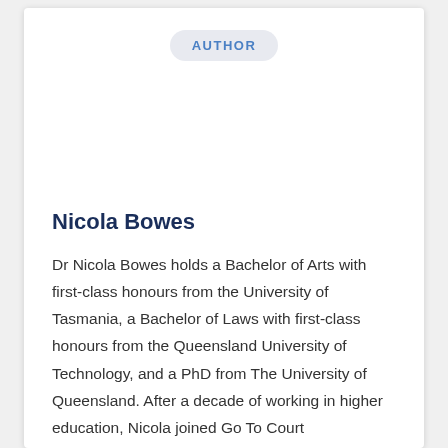AUTHOR
Nicola Bowes
Dr Nicola Bowes holds a Bachelor of Arts with first-class honours from the University of Tasmania, a Bachelor of Laws with first-class honours from the Queensland University of Technology, and a PhD from The University of Queensland. After a decade of working in higher education, Nicola joined Go To Court